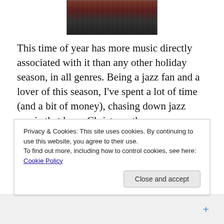[Figure (photo): Partial image of two figures dressed in Christmas/Santa outfits, cropped at top of page]
This time of year has more music directly associated with it than any other holiday season, in all genres.  Being a jazz fan and a lover of this season, I've spent a lot of time (and a bit of money), chasing down jazz music that has a Christmas theme.  Sometimes an artist recorded an entire album, sometimes it was just a one-off; intended to be a seasonal 45.  I've found some cringe worthy clunkers and also some really creative efforts, that I'll sometimes play long after the decorations have been put away
Privacy & Cookies: This site uses cookies. By continuing to use this website, you agree to their use.
To find out more, including how to control cookies, see here: Cookie Policy